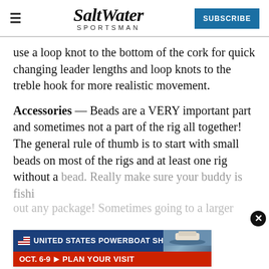Salt Water Sportsman | SUBSCRIBE
use a loop knot to the bottom of the cork for quick changing leader lengths and loop knots to the treble hook for more realistic movement.
Accessories — Beads are a VERY important part and sometimes not a part of the rig all together! The general rule of thumb is to start with small beads on most of the rigs and at least one rig without a bead. Really make sure your buddy is fishing without any package! Sometimes going to a larger
[Figure (screenshot): Advertisement overlay: United States Powerboat Show, Oct. 6-9, Plan Your Visit, with a close button (X) in the bottom right area of the page]